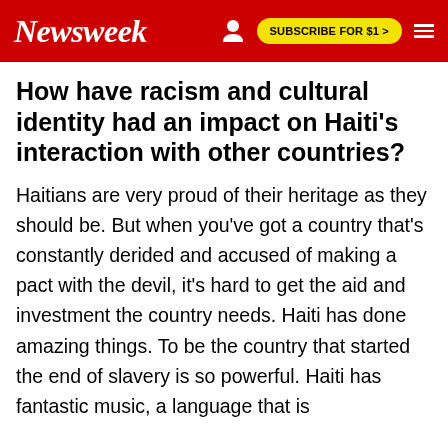Newsweek | SUBSCRIBE FOR $1 >
How have racism and cultural identity had an impact on Haiti's interaction with other countries?
Haitians are very proud of their heritage as they should be. But when you've got a country that's constantly derided and accused of making a pact with the devil, it's hard to get the aid and investment the country needs. Haiti has done amazing things. To be the country that started the end of slavery is so powerful. Haiti has fantastic music, a language that is